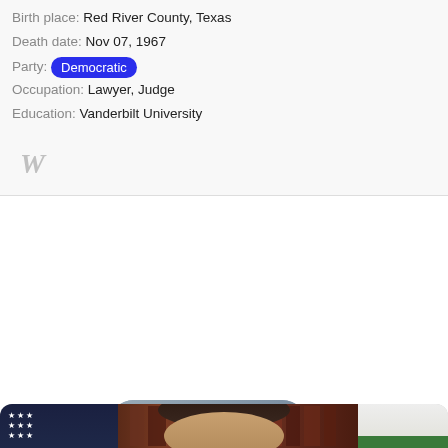Birth place: Red River County, Texas
Death date: Nov 07, 1967
Party: Democratic
Occupation: Lawyer, Judge
Education: Vanderbilt University
[Figure (photo): Wikipedia W logo in gray italic style]
[Figure (photo): Portrait photo of President (Joe Biden) smiling in dark suit with blue striped tie, rounded corners, on light background]
President
[Figure (photo): Partial portrait photo of a person with dark hair, US flag on the left and California bear flag on the right, with bookshelves in background]